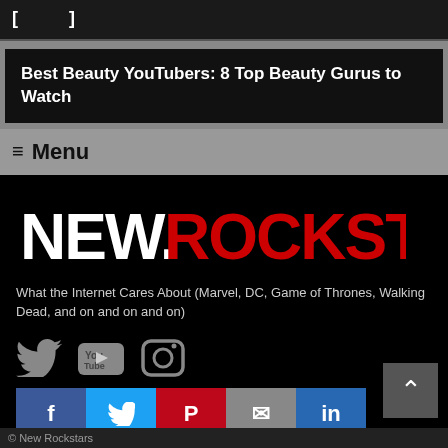[ … ]
Best Beauty YouTubers: 8 Top Beauty Gurus to Watch
≡ Menu
[Figure (logo): New Rockstars logo — 'NEW.' in white bold text followed by 'ROCKSTARS' in large red bold text]
What the Internet Cares About (Marvel, DC, Game of Thrones, Walking Dead, and on and on and on)
[Figure (infographic): Social media icons row: Twitter bird icon, YouTube icon, Instagram camera icon]
[Figure (infographic): Share buttons row: Facebook (f), Twitter bird, Pinterest (P), Email (envelope), LinkedIn (in)]
© New Rockstars